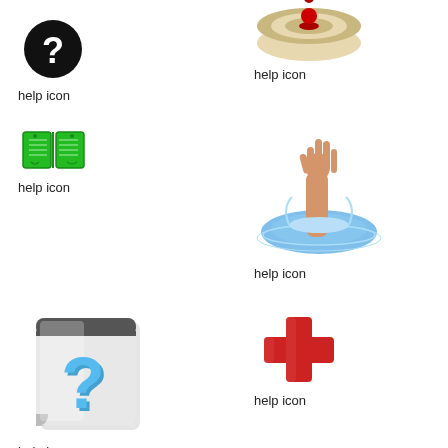[Figure (illustration): Black circle with white question mark - help icon]
help icon
[Figure (illustration): Circular target/dartboard style help icon partially cropped at top]
help icon
[Figure (illustration): Green open book icon - help icon]
help icon
[Figure (illustration): Hand reaching out of water splash - help icon]
help icon
[Figure (illustration): Gray notepad/calendar with blue 3D question mark - help icon]
help icon
[Figure (illustration): Red cross / medical plus sign - help icon]
help icon
[Figure (illustration): Blue 3D question mark - help icon]
[Figure (illustration): Yellow circle/coin with brown question mark - help icon]